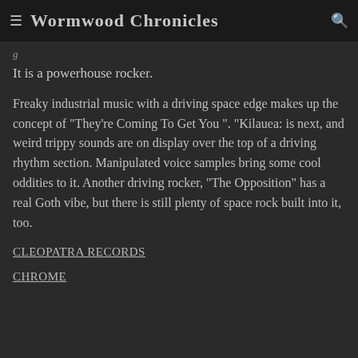Wormwood Chronicles
It is a powerhouse rocker.
Freaky industrial music with a driving space edge makes up the concept of "They're Coming To Get You". "Kilauea: is next, and weird trippy sounds are on display over the top of a driving rhythm section. Manipulated voice samples bring some cool oddities to it. Another driving rocker, "The Opposition" has a real Goth vibe, but there is still plenty of space rock built into it, too.
CLEOPATRA RECORDS
CHROME